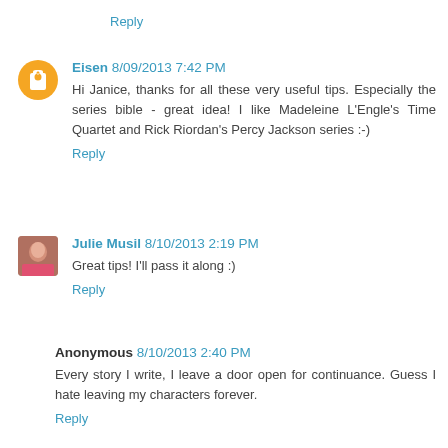Reply
Eisen 8/09/2013 7:42 PM
Hi Janice, thanks for all these very useful tips. Especially the series bible - great idea! I like Madeleine L'Engle's Time Quartet and Rick Riordan's Percy Jackson series :-)
Reply
Julie Musil 8/10/2013 2:19 PM
Great tips! I'll pass it along :)
Reply
Anonymous 8/10/2013 2:40 PM
Every story I write, I leave a door open for continuance. Guess I hate leaving my characters forever.
Reply